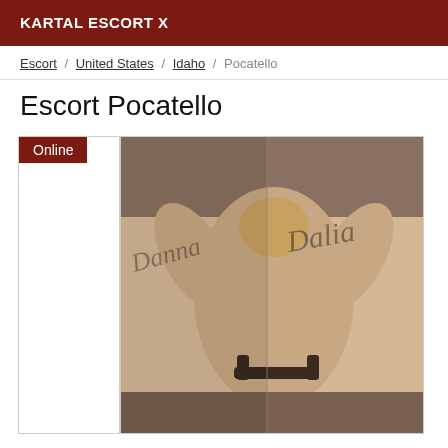KARTAL ESCORT X
Escort / United States / Idaho / Pocatello
Escort Pocatello
[Figure (photo): Sepia-toned mirror selfie photo of a woman seen from behind with hands raised, wearing a dark top, with cursive watermark text overlay. Status badge 'Online' in dark red at top left.]